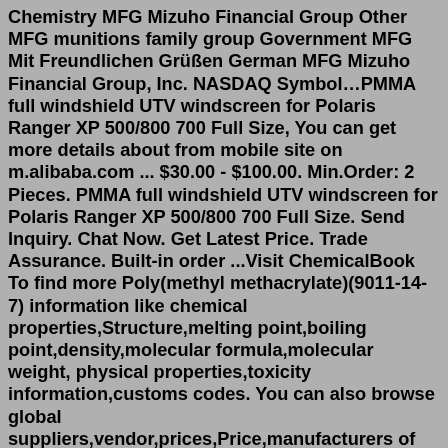Chemistry MFG Mizuho Financial Group Other MFG munitions family group Government MFG Mit Freundlichen Grüßen German MFG Mizuho Financial Group, Inc. NASDAQ Symbol…PMMA full windshield UTV windscreen for Polaris Ranger XP 500/800 700 Full Size, You can get more details about from mobile site on m.alibaba.com ... $30.00 - $100.00. Min.Order: 2 Pieces. PMMA full windshield UTV windscreen for Polaris Ranger XP 500/800 700 Full Size. Send Inquiry. Chat Now. Get Latest Price. Trade Assurance. Built-in order ...Visit ChemicalBook To find more Poly(methyl methacrylate)(9011-14-7) information like chemical properties,Structure,melting point,boiling point,density,molecular formula,molecular weight, physical properties,toxicity information,customs codes. You can also browse global suppliers,vendor,prices,Price,manufacturers of Poly(methyl methacrylate)(9011-14-7). At last,Poly(methyl methacrylate)(9011 ... Poly ( methyl methacrylate) ( PMMA) belongs to a group of